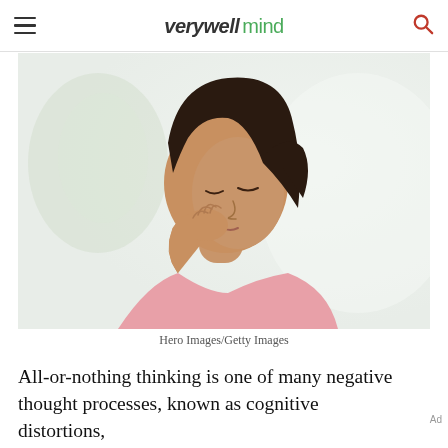verywell mind
[Figure (photo): Woman in pink shirt, head bowed, touching her neck with her hand, appearing pensive or stressed. Light, blurred background.]
Hero Images/Getty Images
All-or-nothing thinking is one of many negative thought processes, known as cognitive distortions,